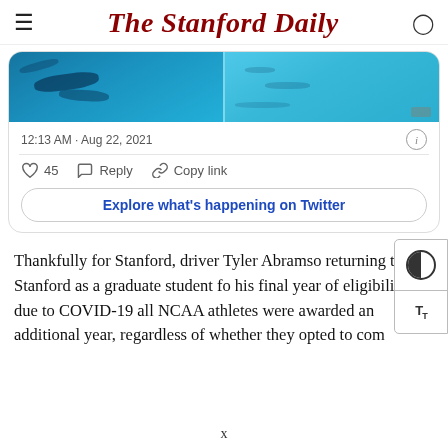The Stanford Daily
[Figure (screenshot): Twitter embed showing two swimming pool photos side by side, timestamp 12:13 AM · Aug 22, 2021, with 45 likes, Reply, Copy link actions, and an 'Explore what's happening on Twitter' button]
Thankfully for Stanford, driver Tyler Abramso returning to Stanford as a graduate student fo his final year of eligibility — due to COVID-19 all NCAA athletes were awarded an additional year, regardless of whether they opted to com